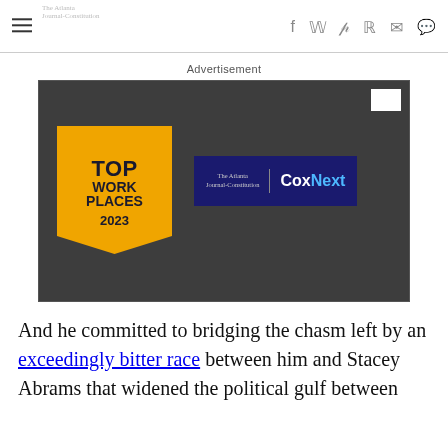Navigation header with hamburger menu and social share icons (f, twitter, pinterest, reddit, mail, comment)
Advertisement
[Figure (other): Advertisement banner: Top Work Places 2023 award badge (gold ribbon shape) alongside The Atlanta Journal-Constitution and CoxNext logo on dark background]
And he committed to bridging the chasm left by an exceedingly bitter race between him and Stacey Abrams that widened the political gulf between